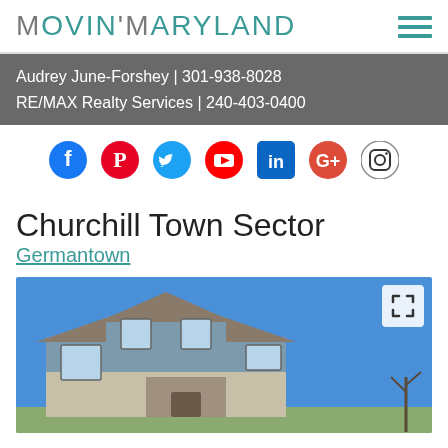Movin' Maryland
Audrey June-Forshey | 301-938-8028
RE/MAX Realty Services | 240-403-0400
[Figure (infographic): Row of social media icons: Facebook, Pinterest, Twitter, YouTube, LinkedIn, Google+, Instagram]
Churchill Town Sector
Germantown
[Figure (photo): Exterior photo of a two-story residential house with gray/blue siding, stone accents, and multiple windows against a blue sky]